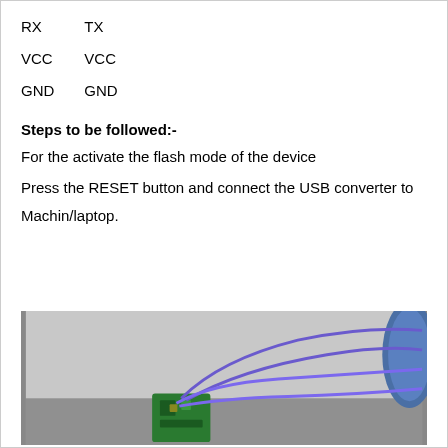| RX | TX |
| VCC | VCC |
| GND | GND |
Steps to be followed:-
For the activate the flash mode of the device
Press the RESET button and connect the USB converter to
Machin/laptop.
[Figure (photo): Photo of a circuit board (green PCB) with blue/purple wires connected, placed on a light gray surface, with a blue cylindrical object partially visible at the right edge.]